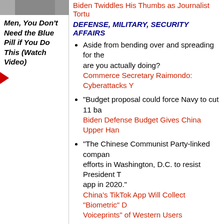[Figure (photo): Cropped photo of person, partially visible at top of left column]
Men, You Don't Need the Blue Pill if You Do This (Watch Video)
Biden Twiddles His Thumbs as Journalist Tortu...
DEFENSE, MILITARY, SECURITY AFFAIRS
Aside from bending over and spreading for the... are you actually doing?
Commerce Secretary Raimondo: Cyberattacks Y...
"Budget proposal could force Navy to cut 11 ba...
Biden Defense Budget Gives China Upper Han...
"The Chinese Communist Party-linked compan... efforts in Washington, D.C. to resist President T... app in 2020."
China's TikTok App Will Collect "Biometric" D... Voiceprints" of Western Users
"Considering how the military has embraced so...
The Pentagon Puts a Halt to Pride Flags
WE-ALL-SLAM-FOR-I-SLAM
"A pandemic of 'holy' hate."
Muslim Anti-Semitism by the Numbers
DOMESTIC AFFAIRS, WASTE/FRAUD/ABUS...
'This bill concerns me... because it involves an... to compete with China, but on terms that don't f...
Republicans Grow Wary of China Bill as Demo... Lofty Price Tag
"How progressive reforms helped level a histor...
Rock Bottom